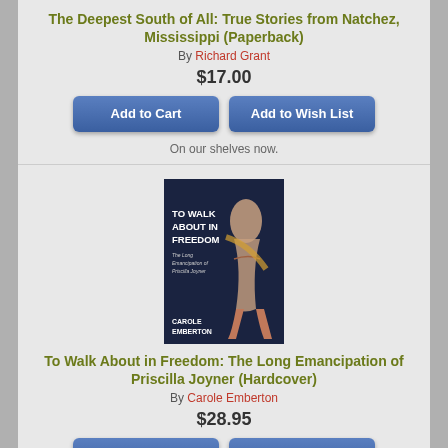The Deepest South of All: True Stories from Natchez, Mississippi (Paperback)
By Richard Grant
$17.00
Add to Cart
Add to Wish List
On our shelves now.
[Figure (illustration): Book cover for 'To Walk About in Freedom: The Long Emancipation of Priscilla Joyner' by Carole Emberton. Dark navy background with bold white text and a silhouette figure.]
To Walk About in Freedom: The Long Emancipation of Priscilla Joyner (Hardcover)
By Carole Emberton
$28.95
Add to Cart
Add to Wish List